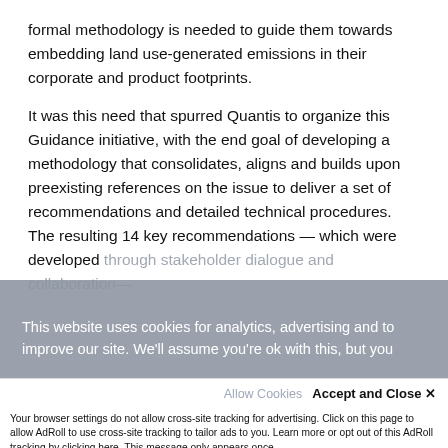formal methodology is needed to guide them towards embedding land use-generated emissions in their corporate and product footprints.
It was this need that spurred Quantis to organize this Guidance initiative, with the end goal of developing a methodology that consolidates, aligns and builds upon preexisting references on the issue to deliver a set of recommendations and detailed technical procedures. The resulting 14 key recommendations — which were developed through stakeholder dialogue and collaboration—
This website uses cookies for analytics, advertising and to improve our site. We'll assume you're ok with this, but you
Allow Cookies   Accept and Close ✕
Your browser settings do not allow cross-site tracking for advertising. Click on this page to allow AdRoll to use cross-site tracking to tailor ads to you. Learn more or opt out of this AdRoll tracking by clicking here. This message only appears once.